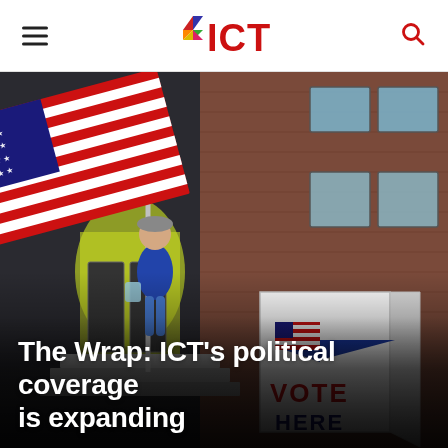ICT
[Figure (photo): Photograph of a voting location exterior. A large American flag waves in the foreground on a flagpole. A woman in a blue jacket and grey hat walks down steps of a brick building. In the right foreground is a large A-frame sign reading 'VOTE HERE' with an American flag graphic and a blue arrow. Another masked person is visible in the background.]
The Wrap: ICT's political coverage is expanding